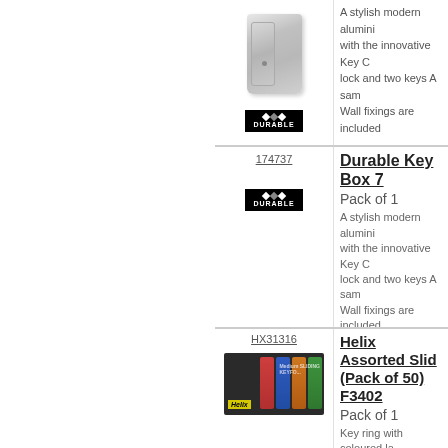[Figure (photo): Durable Key Box aluminium wall-mounted key cabinet, silver/grey, with door]
[Figure (logo): Durable brand logo, black background, white text and diamond shapes]
A stylish modern aluminium with the innovative Key C lock and two keys A sam Wall fixings are included
174737
Durable Key Box 7
Pack of 1
[Figure (logo): Durable brand logo, black background]
A stylish modern aluminium with the innovative Key C lock and two keys A sam Wall fixings are included
HX31316
Helix Assorted Slid (Pack of 50) F3402
Pack of 1
[Figure (photo): Helix assorted sliding key rings with coloured labels, shown on dark background with yellow Helix logo]
Key ring with coloured la easy access to label Ass Label Size: 29x21mm D